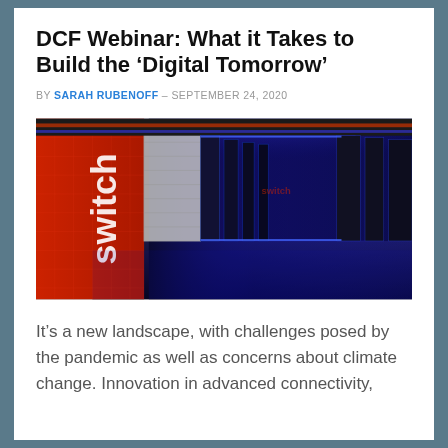DCF Webinar: What it Takes to Build the ‘Digital Tomorrow’
BY SARAH RUBENOFF – SEPTEMBER 24, 2020
[Figure (photo): Interior of a data center corridor with red and blue lighting, server racks on both sides, branded with 'switch' logo on the left panel.]
It’s a new landscape, with challenges posed by the pandemic as well as concerns about climate change. Innovation in advanced connectivity,